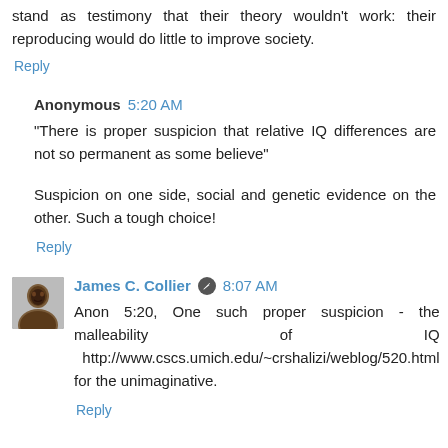stand as testimony that their theory wouldn't work: their reproducing would do little to improve society.
Reply
Anonymous  5:20 AM
"There is proper suspicion that relative IQ differences are not so permanent as some believe"
Suspicion on one side, social and genetic evidence on the other. Such a tough choice!
Reply
James C. Collier  8:07 AM
Anon 5:20, One such proper suspicion - the malleability of IQ  http://www.cscs.umich.edu/~crshalizi/weblog/520.html for the unimaginative.
Reply